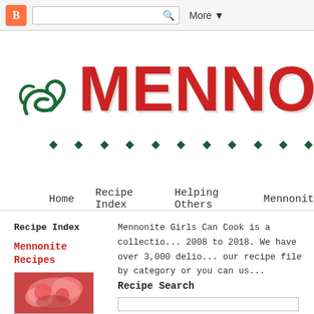Blogger navbar with search and More button
[Figure (logo): Mennonite Girls Can Cook blog header with green swirl decoration, large red MENNONITE text, and row of green diamond decorations]
Home   Recipe Index   Helping Others   Mennonit...
Recipe Index
Mennonite Recipes
[Figure (photo): Photo of pink/red glazed cookies or donuts]
Mennonite Girls Can Cook is a collectio... 2008 to 2018. We have over 3,000 delio... our recipe file by category or you can us...
Recipe Search